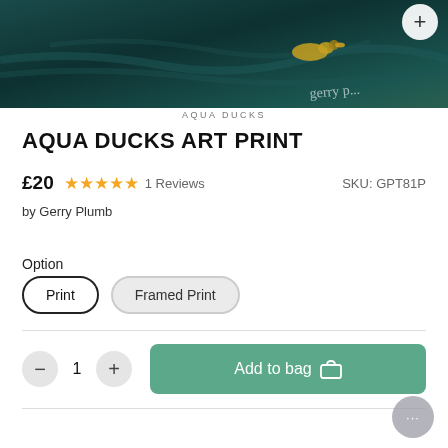[Figure (photo): Product photo of Aqua Ducks art print showing dark teal water with a duck, artist signature visible]
AQUA DUCKS
AQUA DUCKS ART PRINT
£20  ★★★★★  1 Reviews  SKU: GPT81P
by Gerry Plumb
Option
Print   Framed Print
1  Add to bag